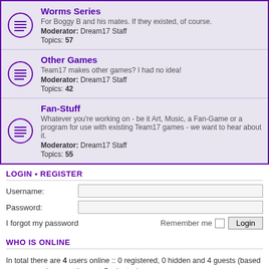Worms Series — For Boggy B and his mates. If they existed, of course. Moderator: Dream17 Staff Topics: 57
Other Games — Team17 makes other games? I had no idea! Moderator: Dream17 Staff Topics: 42
Fan-Stuff — Whatever you're working on - be it Art, Music, a Fan-Game or a program for use with existing Team17 games - we want to hear about it. Moderator: Dream17 Staff Topics: 55
LOGIN • REGISTER
Username:
Password:
I forgot my password
Remember me  Login
WHO IS ONLINE
In total there are 4 users online :: 0 registered, 0 hidden and 4 guests (based on users active over the past 5 minutes)
Most users ever online was 61 on Wed May 27, 2020 2:31 pm
STATISTICS